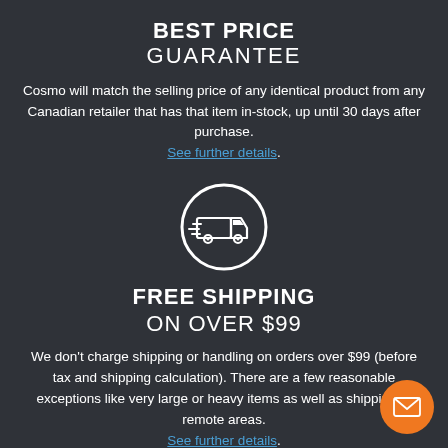BEST PRICE GUARANTEE
Cosmo will match the selling price of any identical product from any Canadian retailer that has that item in-stock, up until 30 days after purchase. See further details.
[Figure (illustration): White circle icon containing a delivery truck / van silhouette on a dark background]
FREE SHIPPING ON OVER $99
We don't charge shipping or handling on orders over $99 (before tax and shipping calculation). There are a few reasonable exceptions like very large or heavy items as well as shipping to remote areas. See further details.